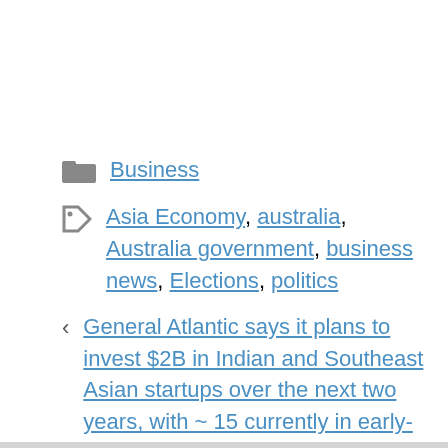Business
Asia Economy, australia, Australia government, business news, Elections, politics
General Atlantic says it plans to invest $2B in Indian and Southeast Asian startups over the next two years, with ~ 15 currently in early-stage funding talks (Aditya Kalra / Reuters)
NFL rookies are getting better than ever before